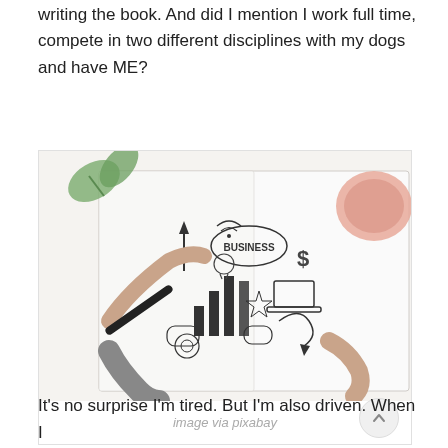writing the book. And did I mention I work full time, compete in two different disciplines with my dogs and have ME?
[Figure (photo): Overhead view of a person's hands holding a pen and writing/drawing in an open notebook/journal filled with business-themed doodles and sketches including charts, arrows, a laptop, dollar signs, speech bubbles, and the word BUSINESS. A pink mug and green leaves are visible in the background on a white surface.]
image via pixabay
It's no surprise I'm tired. But I'm also driven. When I